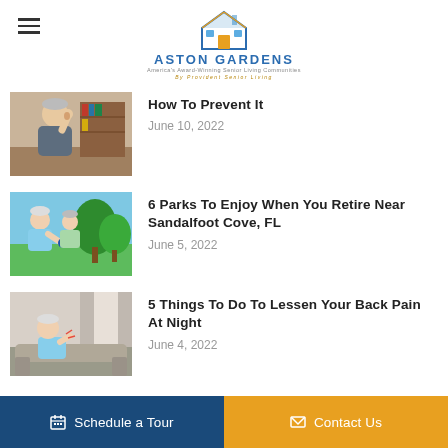ASTON GARDENS — America's Award-Winning Senior Living Communities — By Provident Senior Living
How To Prevent It — June 10, 2022
6 Parks To Enjoy When You Retire Near Sandalfoot Cove, FL — June 5, 2022
5 Things To Do To Lessen Your Back Pain At Night — June 4, 2022
Schedule a Tour    Contact Us